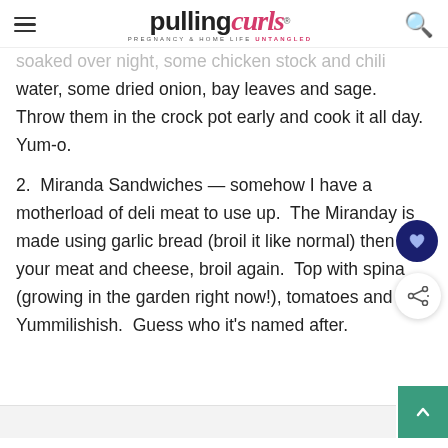pulling curls — PREGNANCY & HOME LIFE UNTANGLED
soaked over night, some chicken stock and chili water, some dried onion, bay leaves and sage. Throw them in the crock pot early and cook it all day. Yum-o.
2.  Miranda Sandwiches — somehow I have a motherload of deli meat to use up.  The Miranday is made using garlic bread (broil it like normal) then add your meat and cheese, broil again.  Top with spinach (growing in the garden right now!), tomatoes and Yummilishish.  Guess who it's named after.